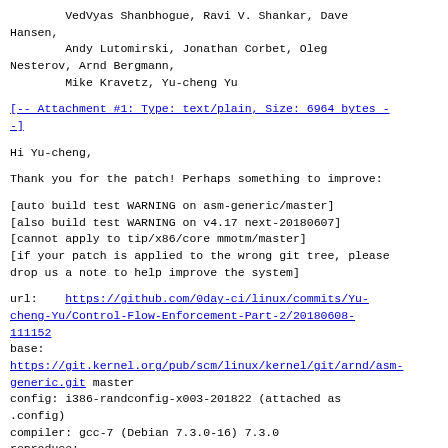VedVyas Shanbhogue, Ravi V. Shankar, Dave Hansen,
        Andy Lutomirski, Jonathan Corbet, Oleg Nesterov, Arnd Bergmann,
        Mike Kravetz, Yu-cheng Yu
[-- Attachment #1: Type: text/plain, Size: 6964 bytes --]
Hi Yu-cheng,
Thank you for the patch! Perhaps something to improve:
[auto build test WARNING on asm-generic/master]
[also build test WARNING on v4.17 next-20180607]
[cannot apply to tip/x86/core mmotm/master]
[if your patch is applied to the wrong git tree, please
drop us a note to help improve the system]
url:    https://github.com/0day-ci/linux/commits/Yu-cheng-Yu/Control-Flow-Enforcement-Part-2/20180608-111152
base:
https://git.kernel.org/pub/scm/linux/kernel/git/arnd/asm-generic.git master
config: i386-randconfig-x003-201822 (attached as .config)
compiler: gcc-7 (Debian 7.3.0-16) 7.3.0
reproduce:
        # save the attached .config to linux build tree